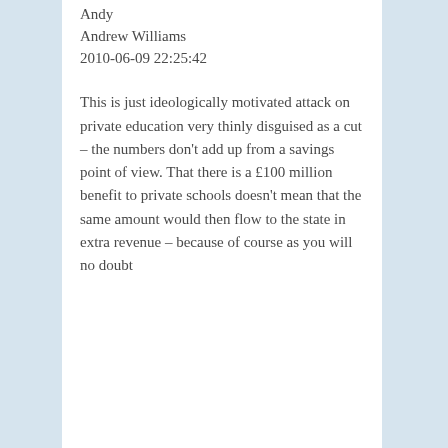Andy
Andrew Williams
2010-06-09 22:25:42
This is just ideologically motivated attack on private education very thinly disguised as a cut – the numbers don't add up from a savings point of view. That there is a £100 million benefit to private schools doesn't mean that the same amount would then flow to the state in extra revenue – because of course as you will no doubt